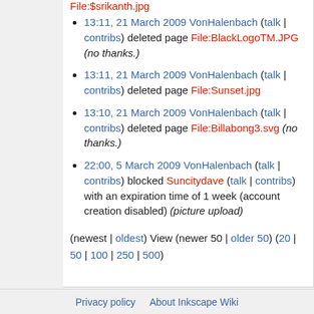File:$srikanth.jpg
13:11, 21 March 2009 VonHalenbach (talk | contribs) deleted page File:BlackLogoTM.JPG (no thanks.)
13:11, 21 March 2009 VonHalenbach (talk | contribs) deleted page File:Sunset.jpg
13:10, 21 March 2009 VonHalenbach (talk | contribs) deleted page File:Billabong3.svg (no thanks.)
22:00, 5 March 2009 VonHalenbach (talk | contribs) blocked Suncitydave (talk | contribs) with an expiration time of 1 week (account creation disabled) (picture upload)
(newest | oldest) View (newer 50 | older 50) (20 | 50 | 100 | 250 | 500)
Privacy policy   About Inkscape Wiki